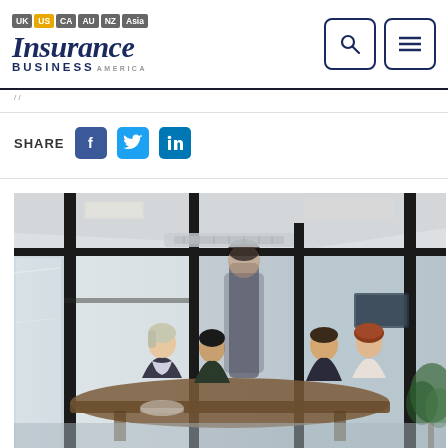Insurance Business America — UK US CA AU NZ Asia
SHARE
[Figure (screenshot): Navigation icons: search (magnifying glass) and menu (hamburger) buttons in outlined rounded square boxes]
[Figure (photo): Office meeting room scene viewed through glass wall. Several people seated around a table in a modern office with glass partitions, one person standing, overhead lights visible, plant in corner.]